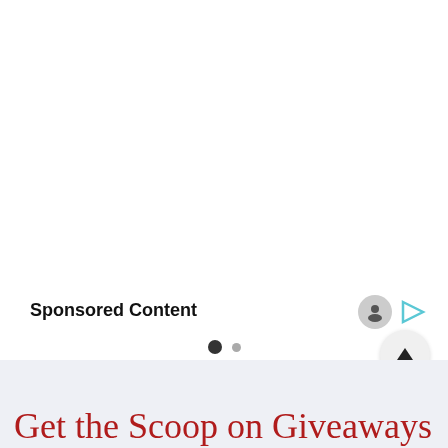Sponsored Content
[Figure (other): Carousel dot indicators: one filled dark circle and one smaller gray circle, indicating slide position]
[Figure (other): UI icons: a face/avatar icon in gray circle, a play/share icon, and a scroll-to-top button (up arrow in light gray circle)]
Get the Scoop on Giveaways